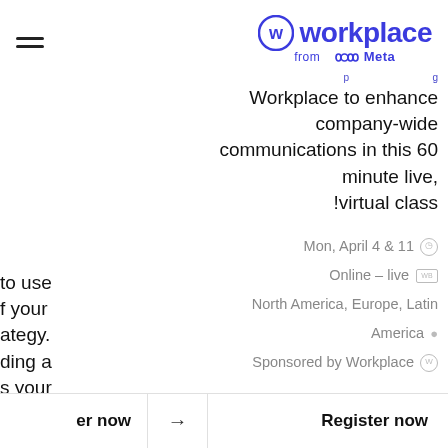workplace from Meta
Workplace to enhance company-wide communications in this 60 minute live, virtual class!
Mon, April 4 & 11  Online – live  North America, Europe, Latin America  Sponsored by Workplace
to use f your ategy. ding a s your needs
& 13  live  rica  ace
er now  →  Register now